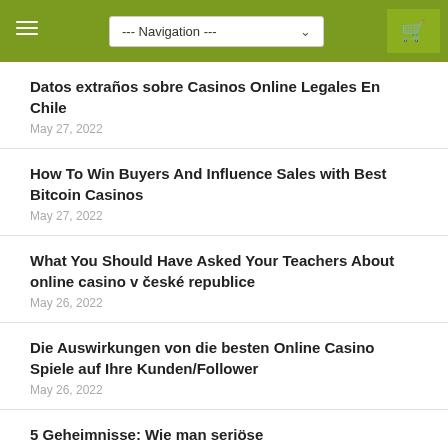Navigation
Datos extraños sobre Casinos Online Legales En Chile
May 27, 2022
How To Win Buyers And Influence Sales with Best Bitcoin Casinos
May 27, 2022
What You Should Have Asked Your Teachers About online casino v české republice
May 26, 2022
Die Auswirkungen von die besten Online Casino Spiele auf Ihre Kunden/Follower
May 26, 2022
5 Geheimnisse: Wie man seriöse